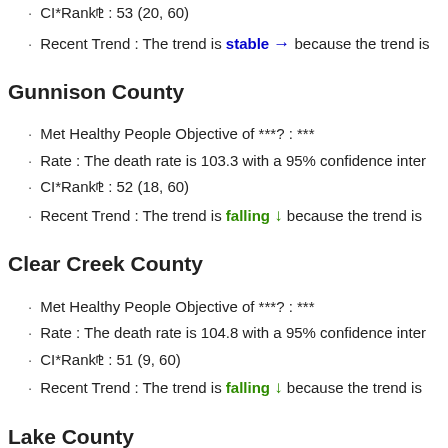CI*Rankⓘ : 53 (20, 60)
Recent Trend : The trend is stable → because the trend is
Gunnison County
Met Healthy People Objective of ***? : ***
Rate : The death rate is 103.3 with a 95% confidence inter
CI*Rankⓘ : 52 (18, 60)
Recent Trend : The trend is falling ↓ because the trend is
Clear Creek County
Met Healthy People Objective of ***? : ***
Rate : The death rate is 104.8 with a 95% confidence inter
CI*Rankⓘ : 51 (9, 60)
Recent Trend : The trend is falling ↓ because the trend is
Lake County
Met Healthy People Objective of ***? : ***
Rate : The death rate is 106 with a 95% confidence inter